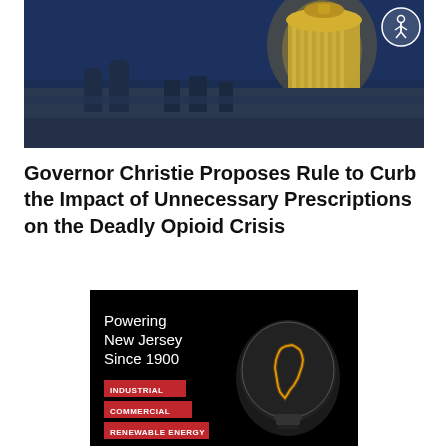[Figure (photo): Night photograph of a government building (New Jersey State Capitol) with illuminated golden dome against dark blue sky, with accessibility icon in top right corner]
Governor Christie Proposes Rule to Curb the Impact of Unnecessary Prescriptions on the Deadly Opioid Crisis
[Figure (illustration): Advertisement with black background showing text 'Powering New Jersey Since 1900' with red category tags: INDUSTRIAL, COMMERCIAL, RENEWABLE ENERGY, and a glowing light bulb containing the outline shape of New Jersey]